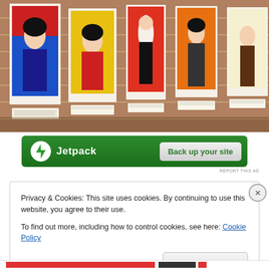[Figure (photo): Photo of an art gallery wall with brick background displaying multiple framed pop-art style posters featuring female figures in colorful illustrative styles, with small label cards beneath each framed piece.]
[Figure (screenshot): Jetpack plugin advertisement banner — green background, Jetpack logo and name on the left, 'Back up your site' button on the right.]
REPORT THIS AD
Privacy & Cookies: This site uses cookies. By continuing to use this website, you agree to their use.
To find out more, including how to control cookies, see here: Cookie Policy
Close and accept